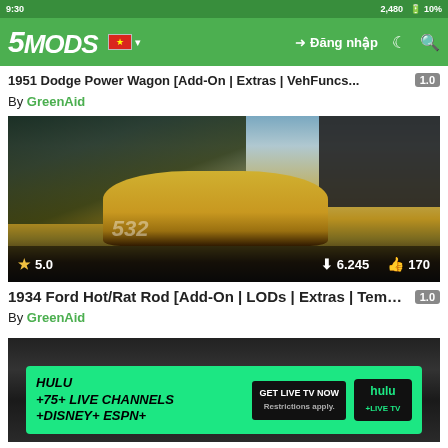5MODS | Đăng nhập
1951 Dodge Power Wagon [Add-On | Extras | VehFuncs... 1.0
By GreenAid
[Figure (photo): Yellow 1934 Ford Hot Rod/Rat Rod car parked near trees and buildings, with stats overlay showing rating 5.0, downloads 6.245, likes 170]
1934 Ford Hot/Rat Rod [Add-On | LODs | Extras | Templ... 1.0
By GreenAid
[Figure (photo): Dark road scene with a Hulu advertisement overlay showing HULU +75+ LIVE CHANNELS +DISNEY+ +ESPN+ GET LIVE TV NOW]